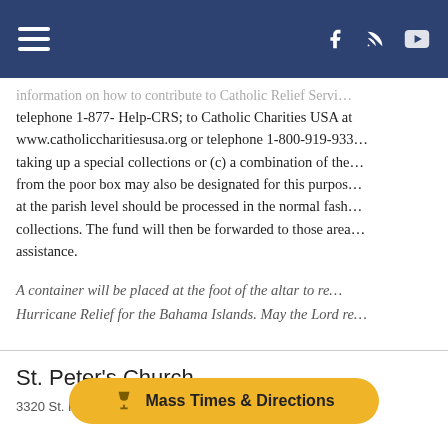Navigation bar with hamburger menu and social icons (Facebook, RSS, YouTube)
information on how to contribute to Catholic Relief Servi… telephone 1-877- Help-CRS; to Catholic Charities USA at www.catholiccharitiesusa.org or telephone 1-800-919-933… taking up a special collections or (c) a combination of the… from the poor box may also be designated for this purpos… at the parish level should be processed in the normal fash… collections. The fund will then be forwarded to those area… assistance.
A container will be placed at the foot of the altar to re… Hurricane Relief for the Bahama Islands. May the Lord re…
St. Peter's Church
3320 St. Peter's Drive  |  Wa…  30…
Mass Times & Directions